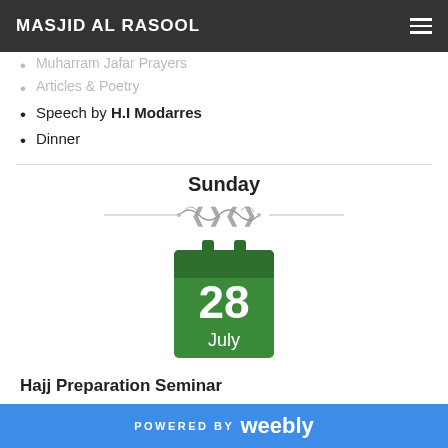MASJID AL RASOOL
Muharram Jafar Prayers
Articles & Poetry
Speech by H.I Modarres
Dinner
Sunday
[Figure (illustration): Decorative ornamental divider with scroll design]
[Figure (illustration): Green calendar icon showing date 28 July]
Hajj Preparation Seminar
POWERED BY weebly